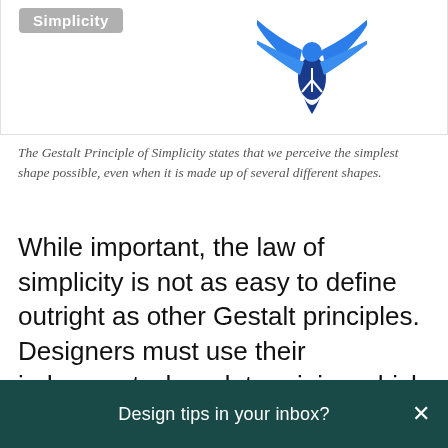[Figure (illustration): A decorative box showing the label 'Simplicity' in grey and a blue snowflake/star logo on the right side, partially cropped at top]
The Gestalt Principle of Simplicity states that we perceive the simplest shape possible, even when it is made up of several different shapes.
While important, the law of simplicity is not as easy to define outright as other Gestalt principles. Designers must use their judgement when determining which interpretation of a composition the viewer will find the most simple. Often, basic geometry and past experience provides the answer as
Design tips in your inbox?